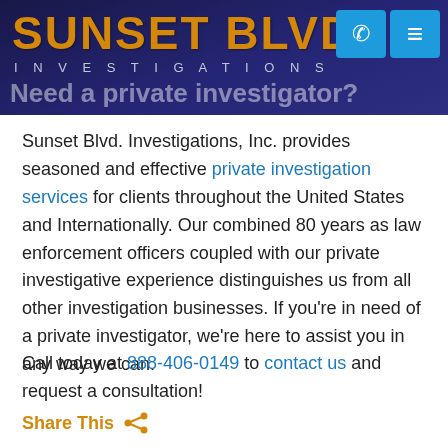SUNSET BLVD INVESTIGATIONS
Need a private investigator?
Sunset Blvd. Investigations, Inc. provides seasoned and effective private investigation services for clients throughout the United States and Internationally. Our combined 80 years as law enforcement officers coupled with our private investigative experience distinguishes us from all other investigation businesses. If you're in need of a private investigator, we're here to assist you in any way we can.
Call today at 888-406-0149 to contact us and request a consultation!
Share This